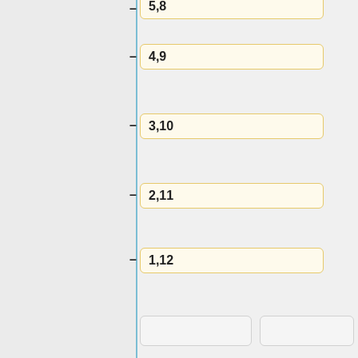5,8
4,9
3,10
2,11
1,12
Line 37:
Line 44:
10,[alignment] children
10,[alignment] children
10,[alignment] mourners
10,[alignment] mourners
10,[alignment] skeletal spectres
10,[alignment] spectres
10,creatures
10,creatures